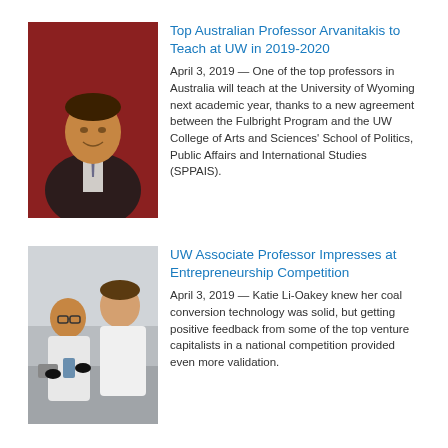[Figure (photo): Man in dark suit with tie, smiling, against red background]
Top Australian Professor Arvanitakis to Teach at UW in 2019-2020
April 3, 2019 — One of the top professors in Australia will teach at the University of Wyoming next academic year, thanks to a new agreement between the Fulbright Program and the UW College of Arts and Sciences' School of Politics, Public Affairs and International Studies (SPPAIS).
[Figure (photo): Woman and man in white lab coats working together in a laboratory]
UW Associate Professor Impresses at Entrepreneurship Competition
April 3, 2019 — Katie Li-Oakey knew her coal conversion technology was solid, but getting positive feedback from some of the top venture capitalists in a national competition provided even more validation.
UW Fossil Fish Festival Offers Activities for All Ages April 13
April 3, 2019 — Several activities for all ages are planned during the Fossil Fish Festival Saturday, April 13 at the ...